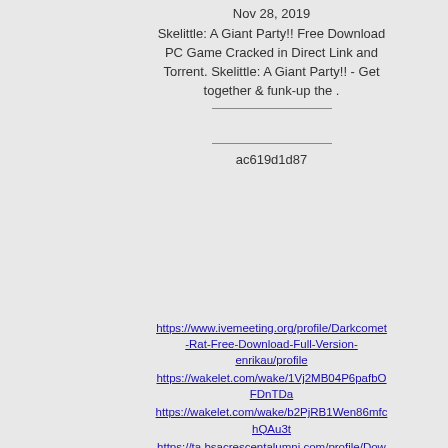funk up the !
Nov 28, 2019
Skelittle: A Giant Party!! Free Download PC Game Cracked in Direct Link and Torrent. Skelittle: A Giant Party!! - Get together & funk-up the .
ac619d1d87
https://www.ivemeeting.org/profile/Darkcomet-Rat-Free-Download-Full-Version-enrikau/profile https://wakelet.com/wake/1Vj2MB04P6pafbOFDnTDa https://wakelet.com/wake/b2PjRB1Wen86mfchQAu3t https://ta.bsacrescentalumni.com/profile/Download-Film-Castigo-Divino-2005/profile